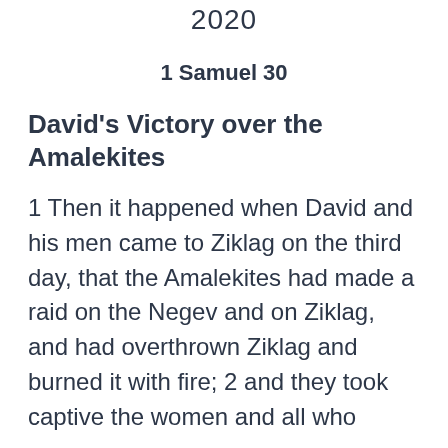2020
1 Samuel 30
David's Victory over the Amalekites
1 Then it happened when David and his men came to Ziklag on the third day, that the Amalekites had made a raid on the Negev and on Ziklag, and had overthrown Ziklag and burned it with fire; 2 and they took captive the women and all who